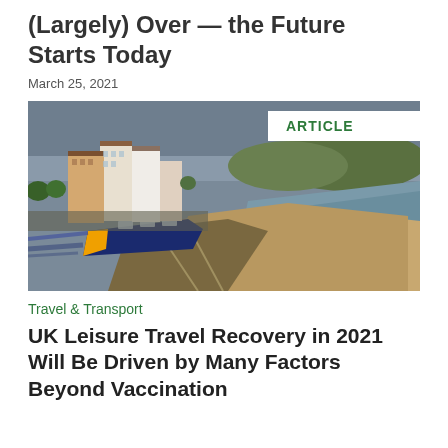(Largely) Over — the Future Starts Today
March 25, 2021
[Figure (photo): A high-speed train moving along coastal railway tracks beside the sea, with seaside buildings on the left and beach/ocean on the right. An 'ARTICLE' badge is overlaid at top right.]
Travel & Transport
UK Leisure Travel Recovery in 2021 Will Be Driven by Many Factors Beyond Vaccination